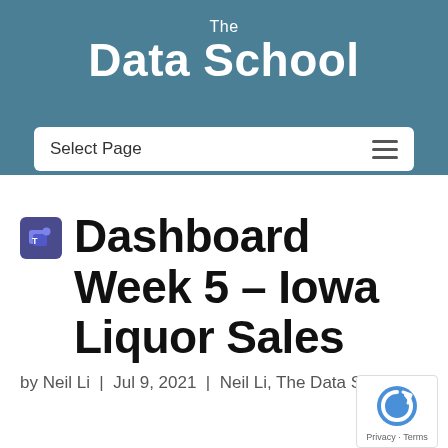The Data School
[Figure (screenshot): Navigation bar with 'Select Page' dropdown and hamburger menu icon on teal background]
[Figure (logo): Microsoft Teams icon, small purple/indigo square with Teams logo]
Dashboard Week 5 – Iowa Liquor Sales
by Neil Li | Jul 9, 2021 | Neil Li, The Data School
[Figure (other): Google reCAPTCHA badge with Privacy and Terms links]